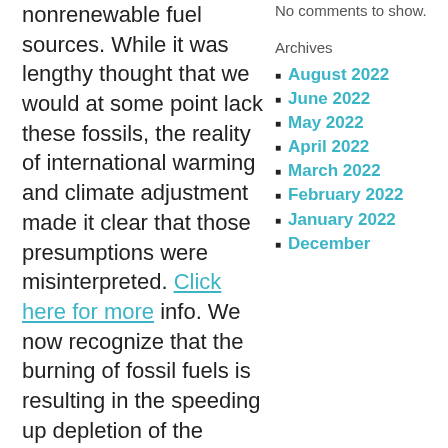nonrenewable fuel sources. While it was lengthy thought that we would at some point lack these fossils, the reality of international warming and climate adjustment made it clear that those presumptions were misinterpreted. Click here for more info. We now recognize that the burning of fossil fuels is resulting in the speeding up depletion of the earth's non-renewable sources. It is
No comments to show.
Archives
August 2022
June 2022
May 2022
April 2022
March 2022
February 2022
January 2022
December